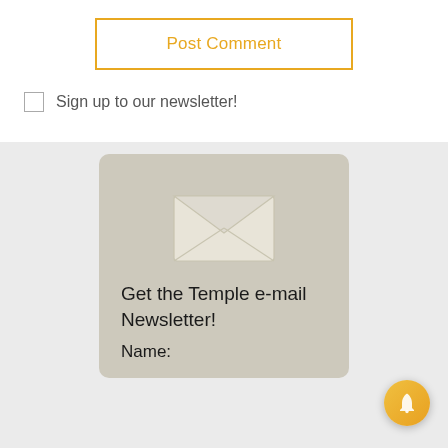Post Comment
Sign up to our newsletter!
[Figure (illustration): Envelope icon above newsletter signup card]
Get the Temple e-mail Newsletter!
Name: